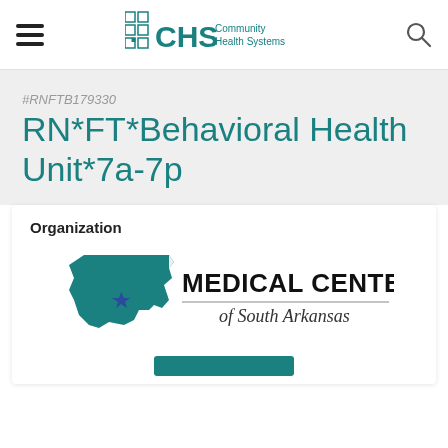CHS Community Health Systems
#RNFTB179330
RN*FT*Behavioral Health Unit*7a-7p
Organization
[Figure (logo): Medical Center of South Arkansas logo with teal Arkansas state outline and blue star]